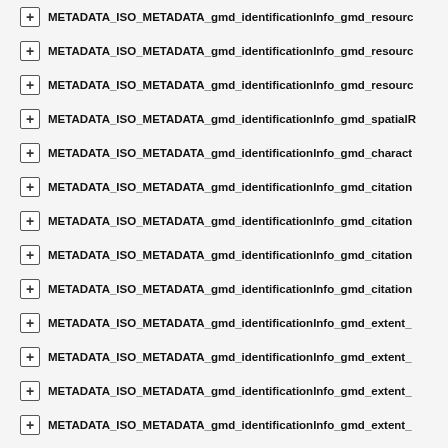METADATA_ISO_METADATA_gmd_identificationInfo_gmd_resourc…
METADATA_ISO_METADATA_gmd_identificationInfo_gmd_resourc…
METADATA_ISO_METADATA_gmd_identificationInfo_gmd_resourc…
METADATA_ISO_METADATA_gmd_identificationInfo_gmd_spatialR…
METADATA_ISO_METADATA_gmd_identificationInfo_gmd_charact…
METADATA_ISO_METADATA_gmd_identificationInfo_gmd_citation…
METADATA_ISO_METADATA_gmd_identificationInfo_gmd_citation…
METADATA_ISO_METADATA_gmd_identificationInfo_gmd_citation…
METADATA_ISO_METADATA_gmd_identificationInfo_gmd_citation…
METADATA_ISO_METADATA_gmd_identificationInfo_gmd_extent_…
METADATA_ISO_METADATA_gmd_identificationInfo_gmd_extent_…
METADATA_ISO_METADATA_gmd_identificationInfo_gmd_extent_…
METADATA_ISO_METADATA_gmd_identificationInfo_gmd_extent_…
METADATA_ISO_METADATA_gmd_dataQualityInfo
METADATA_ISO_METADATA_gmd_dataQualityInfo_gmd_scope
METADATA_ISO_METADATA_gmd_dataQualityInfo_gmd_scope_gr…